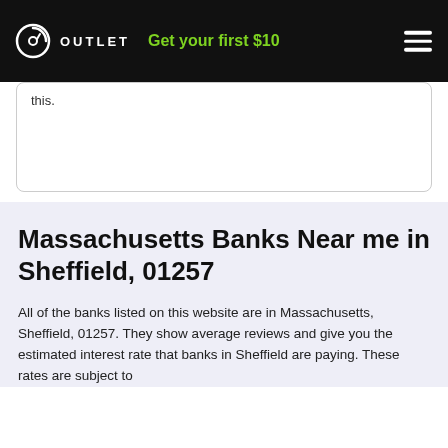OUTLET | Get your first $10
this.
Massachusetts Banks Near me in Sheffield, 01257
All of the banks listed on this website are in Massachusetts, Sheffield, 01257. They show average reviews and give you the estimated interest rate that banks in Sheffield are paying. These rates are subject to